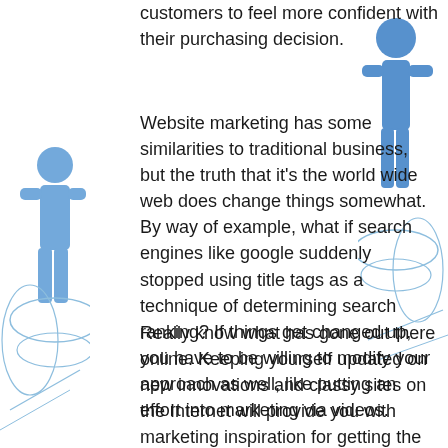[Figure (illustration): Blue stylized human figure silhouette on the left side of the page, with circular/elliptical diagram lines around it]
[Figure (illustration): Blue stylized human figure silhouette on the right side of the page, with circular/elliptical diagram lines around it]
customers to feel more confident with their purchasing decision.
Website marketing has some similarities to traditional business, but the truth that it's the world wide web does change things somewhat. By way of example, what if search engines like google suddenly stopped using title tags as a technique of determining search ranking? If things get changed up, you have to be willing to modify your approach as well, like putting an effort into marketing via videos.
Really know what has gone out there online. Keeping yourself updated on new innovations and classy sites on the Internet will provide you with marketing inspiration for getting the term out concerning your own product and services.